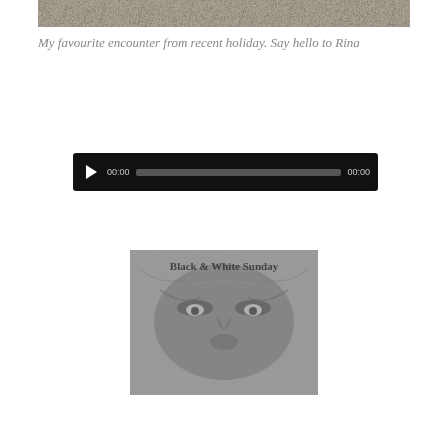[Figure (photo): Grayscale landscape/grass texture photo at top of page]
My favourite encounter from recent holiday. Say hello to Rina
[Figure (screenshot): Audio player widget with black background, play button, 00:00 time display, grey progress bar, and 00:00 end time]
[Figure (photo): Black and white close-up photo of a face (eyes and nose area) with text overlay reading 'Black & White Sunday']